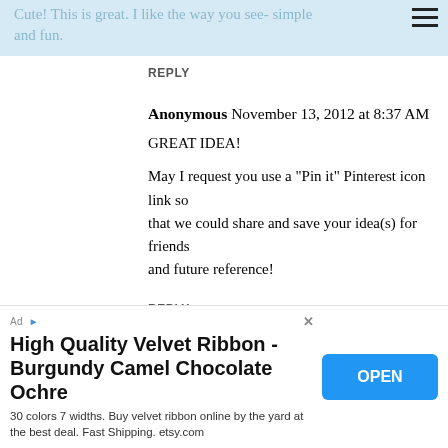Cute! This is great. I like the way you see- simple and fun.
REPLY
Anonymous November 13, 2012 at 8:37 AM
GREAT IDEA!

May I request you use a "Pin it" Pinterest icon link so that we could share and save your idea(s) for friends and future reference!
REPLY
Replies
[Figure (screenshot): Advertisement for High Quality Velvet Ribbon - Burgundy Camel Chocolate Ochre with OPEN button]